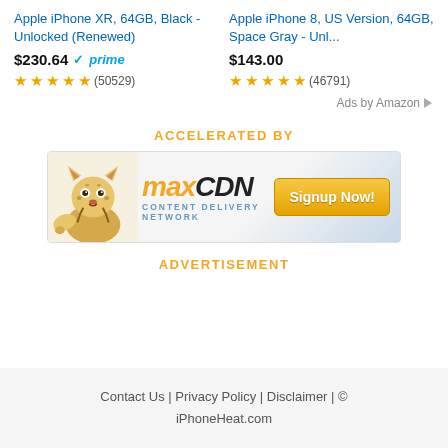Apple iPhone XR, 64GB, Black - Unlocked (Renewed)
Apple iPhone 8, US Version, 64GB, Space Gray - Unl...
$230.64 prime
$143.00
★★★★½ (50529)
★★★★½ (46791)
Ads by Amazon
ACCELERATED BY
[Figure (illustration): MaxCDN Content Delivery Network banner ad with cheetah mascot and Signup Now button]
ADVERTISEMENT
Contact Us | Privacy Policy | Disclaimer | © iPhoneHeat.com